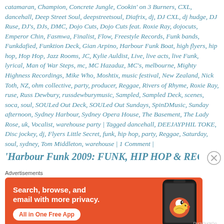catamaran, Champion, Concrete Jungle, Cookin' on 3 Burners, CXL, dancehall, Deep Street Soul, deepstreetsoul, Diafrix, dj, DJ CXL, dj hudge, DJ Ruse, DJ's, DJs, DMC, Dojo Cuts, Dojo Cuts feat. Roxie Ray, dojocuts, Emperor Chin, Fasmwa, Finalist, Flow, Freestyle Records, Funk bands, Funkdafied, Funktion Deck, Gian Arpino, Harbour Funk Boat, high flyers, hip hop, Hop Hop, Jazz Rooms, JC, Kylie Auldist, Live, live acts, live Funk, lyrical, Man of War Steps, mc, MC Hazaduz, MC's, melbourne, Mighty Highness Recordings, Mike Who, Moshtix, music festival, New Zealand, Nick Toth, NZ, ohm collective, party, producer, Reggae, Rivers of Rhyme, Roxie Ray, ruse, Russ Dewbury, russdewburymusic, Sampled, Sampled Deck, scenes, soca, soul, SOULed Out Deck, SOULed Out Sundays, SpinDMusic, Sunday afternoon, Sydney Harbour, Sydney Opera House, The Basement, The Lady Rose, uk, Vocalist, warehouse party | Tagged dancehall, DEEJAYPHIL TOKE, Disc jockey, dj, Flyers Little Secret, funk, hip hop, party, Reggae, Saturday, soul, sydney, Tom Middleton, warehouse | 1 Comment |
'Harbour Funk 2009: FUNK, HIP HOP & REGGAE D...
[Figure (screenshot): DuckDuckGo advertisement banner with orange background showing phone mockup and text: Search, browse, and email with more privacy. All in One Free App. DuckDuckGo logo.]